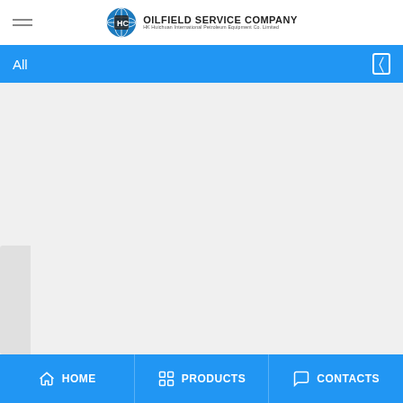OILFIELD SERVICE COMPANY — HK Huichuan International Petroleum Equipment Co. Limited
All
[Figure (screenshot): Mobile app screenshot showing a product listing page with a blue navigation bar labeled 'All' and content cards below on a light grey background]
HOME   PRODUCTS   CONTACTS